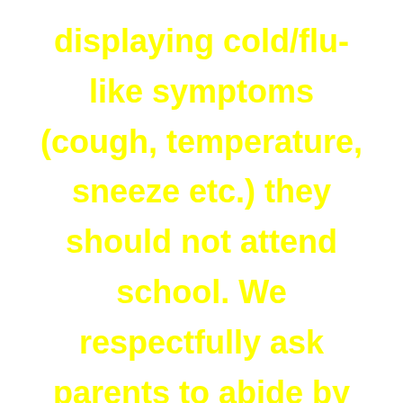displaying cold/flu-like symptoms (cough, temperature, sneeze etc.) they should not attend school. We respectfully ask parents to abide by this directive for the safety of your child/ren and that of all our pupils.